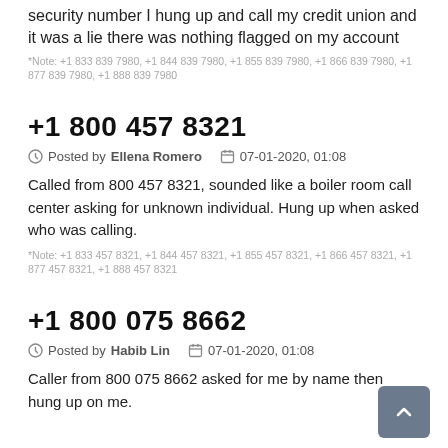security number I hung up and call my credit union and it was a lie there was nothing flagged on my account
*Note: +1 833 839 7980, +1 844 839 7980, +1 855 839 7980, +1 866 839 7980, +1 877 839 7980, +1 888 839 7980
+1 800 457 8321
Posted by Ellena Romero   07-01-2020, 01:08
Called from 800 457 8321, sounded like a boiler room call center asking for unknown individual. Hung up when asked who was calling.
*Note: +1 833 457 8321, +1 844 457 8321, +1 855 457 8321, +1 866 457 8321, +1 877 457 8321, +1 888 457 8321
+1 800 075 8662
Posted by Habib Lin   07-01-2020, 01:08
Caller from 800 075 8662 asked for me by name then hung up on me.